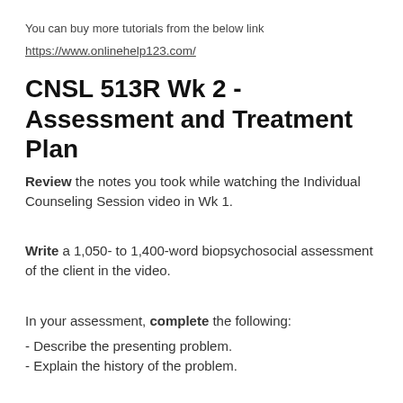You can buy more tutorials from the below link
https://www.onlinehelp123.com/
CNSL 513R Wk 2 - Assessment and Treatment Plan
Review the notes you took while watching the Individual Counseling Session video in Wk 1.
Write a 1,050- to 1,400-word biopsychosocial assessment of the client in the video.
In your assessment, complete the following:
- Describe the presenting problem.
- Explain the history of the problem.